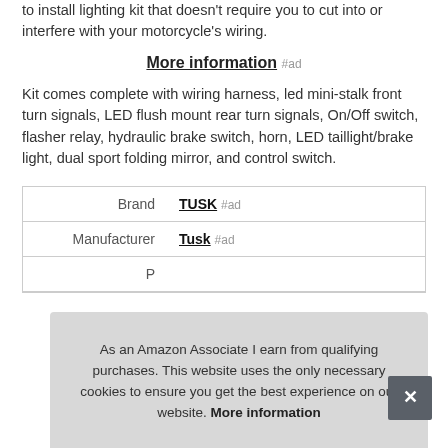to install lighting kit that doesn't require you to cut into or interfere with your motorcycle's wiring.
More information #ad
Kit comes complete with wiring harness, led mini-stalk front turn signals, LED flush mount rear turn signals, On/Off switch, flasher relay, hydraulic brake switch, horn, LED taillight/brake light, dual sport folding mirror, and control switch.
| Brand | TUSK #ad |
| Manufacturer | Tusk #ad |
| P |  |
As an Amazon Associate I earn from qualifying purchases. This website uses the only necessary cookies to ensure you get the best experience on our website. More information